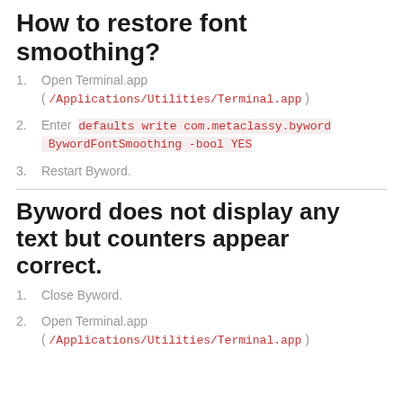How to restore font smoothing?
1. Open Terminal.app ( /Applications/Utilities/Terminal.app )
2. Enter defaults write com.metaclassy.byword BywordFontSmoothing -bool YES
3. Restart Byword.
Byword does not display any text but counters appear correct.
1. Close Byword.
2. Open Terminal.app ( /Applications/Utilities/Terminal.app )